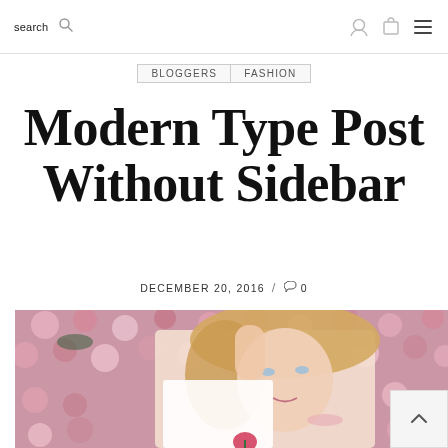search [search icon] [cart icon] [menu icon]
BLOGGERS | FASHION
Modern Type Post Without Sidebar
DECEMBER 20, 2016 / 💬 0
[Figure (photo): Fashion photo of a blonde woman posing in front of a wall of pink roses, holding a pink rose. She is wearing a light pink off-shoulder outfit with floral jewelry.]